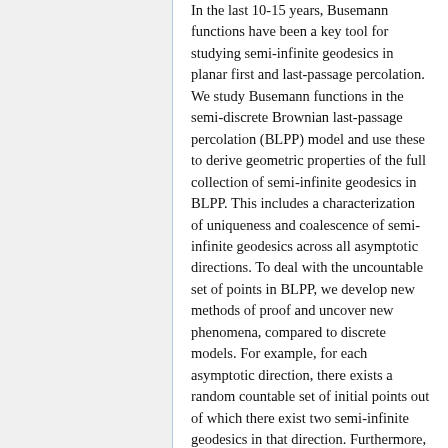In the last 10-15 years, Busemann functions have been a key tool for studying semi-infinite geodesics in planar first and last-passage percolation. We study Busemann functions in the semi-discrete Brownian last-passage percolation (BLPP) model and use these to derive geometric properties of the full collection of semi-infinite geodesics in BLPP. This includes a characterization of uniqueness and coalescence of semi-infinite geodesics across all asymptotic directions. To deal with the uncountable set of points in BLPP, we develop new methods of proof and uncover new phenomena, compared to discrete models. For example, for each asymptotic direction, there exists a random countable set of initial points out of which there exist two semi-infinite geodesics in that direction. Furthermore, th